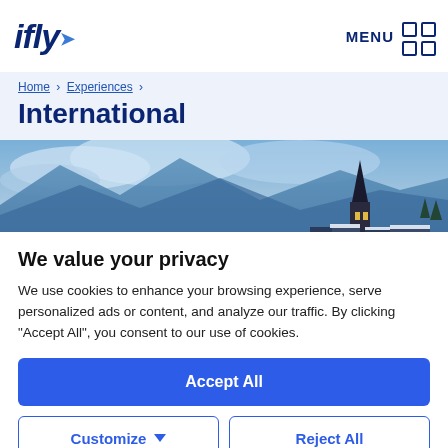ifly | MENU
Home > Experiences >
International
[Figure (photo): Aerial winter landscape with mountains, clouds, and a church steeple with lit windows in a snowy village]
We value your privacy
We use cookies to enhance your browsing experience, serve personalized ads or content, and analyze our traffic. By clicking "Accept All", you consent to our use of cookies.
Accept All
Customize | Reject All